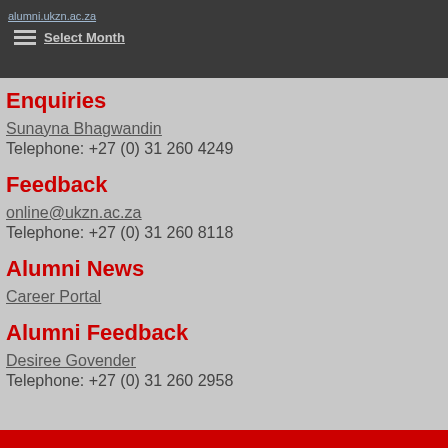alumni.ukzn.ac.za — Select Month
Enquiries
Sunayna Bhagwandin
Telephone: +27 (0) 31 260 4249
Feedback
online@ukzn.ac.za
Telephone: +27 (0) 31 260 8118
Alumni News
Career Portal
Alumni Feedback
Desiree Govender
Telephone: +27 (0) 31 260 2958